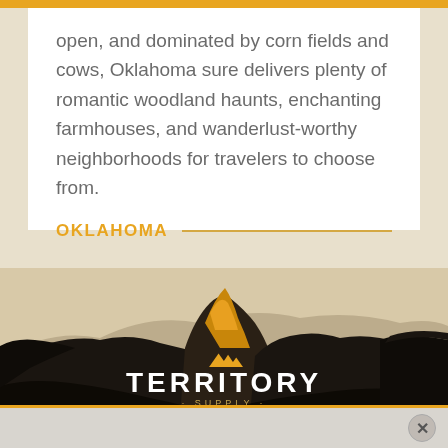For a state with a reputation for being flat, wide open, and dominated by corn fields and cows, Oklahoma sure delivers plenty of romantic woodland haunts, enchanting farmhouses, and wanderlust-worthy neighborhoods for travelers to choose from.
OKLAHOMA
[Figure (photo): Dramatic mountain landscape with dark silhouetted rocky peaks against a light beige/cream sky, with golden-lit rocky spires in the center and dark forested slopes on the sides]
[Figure (logo): Territory Supply logo with golden mountain icon above white bold TERRITORY text and smaller SUPPLY text below]